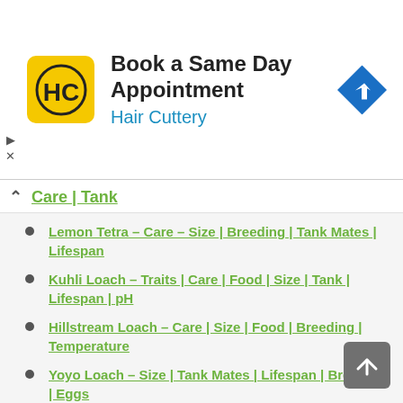[Figure (infographic): Advertisement banner for Hair Cuttery salon showing logo, text 'Book a Same Day Appointment', subtitle 'Hair Cuttery', and blue navigation arrow icon on the right. Play and close controls on the left.]
Care | Tank
Lemon Tetra – Care – Size | Breeding | Tank Mates | Lifespan
Kuhli Loach – Traits | Care | Food | Size | Tank | Lifespan | pH
Hillstream Loach – Care | Size | Food | Breeding | Temperature
Yoyo Loach – Size | Tank Mates | Lifespan | Breeding | Eggs
Otocinclus Catfish – Size | Breeding | Tank | Mates | Care | Food
Compatible Fish with Betta – List | Chart |